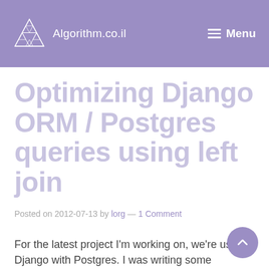Algorithm.co.il  Menu
Optimizing Django ORM / Postgres queries using left join
Posted on 2012-07-13 by lorg — 1 Comment
For the latest project I'm working on, we're using Django with Postgres. I was writing some